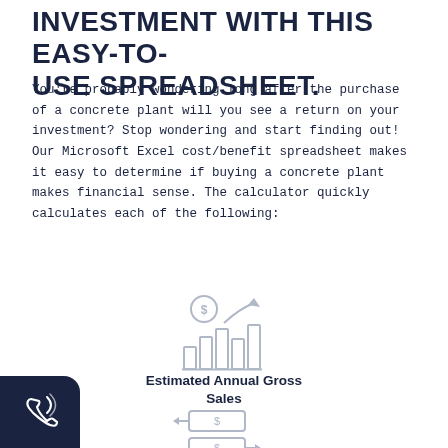INVESTMENT WITH THIS EASY-TO-USE SPREADSHEET.
You're probably wondering long after the purchase of a concrete plant will you see a return on your investment? Stop wondering and start finding out! Our Microsoft Excel cost/benefit spreadsheet makes it easy to determine if buying a concrete plant makes financial sense. The calculator quickly calculates each of the following:
[Figure (illustration): Icon of a bar chart with an upward arrow and dollar sign in a circle above it, representing financial growth or estimated annual gross sales]
Estimated Annual Gross Sales
[Figure (illustration): Two money/dollar bill icons with arrows pointing left and right, representing cash flow in and out]
[Figure (illustration): Phone/call icon button in dark navy background at bottom left corner]